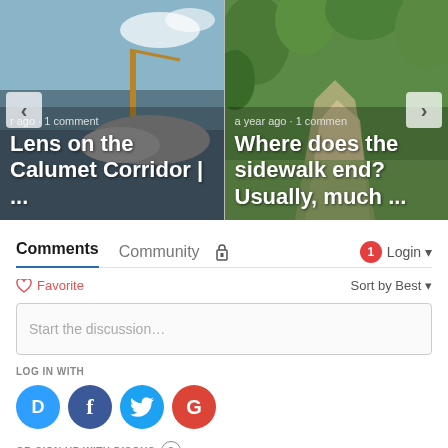[Figure (screenshot): Carousel with two article cards: left card 'Lens on the Calumet Corridor | ...' with industrial image, right card 'Where does the sidewalk end? Usually, much ...' with green tree-lined path. Navigation arrows on each side.]
Comments	Community	🔒	1 Login ▼
♡ Favorite	Sort by Best ▼
Start the discussion…
LOG IN WITH
[Figure (logo): Social login icons: Disqus (D), Facebook (f), Twitter bird, Google (G)]
OR SIGN UP WITH DISQUS ?